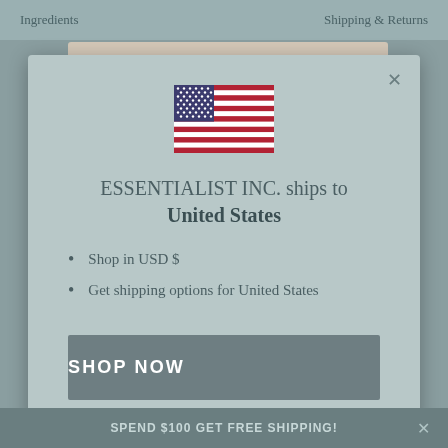Ingredients    Shipping & Returns
[Figure (screenshot): Modal dialog showing US flag and shipping destination info for Essentialist Inc.]
ESSENTIALIST INC. ships to United States
Shop in USD $
Get shipping options for United States
SHOP NOW
CHANGE SHIPPING COUNTRY
SPEND $100 GET FREE SHIPPING!